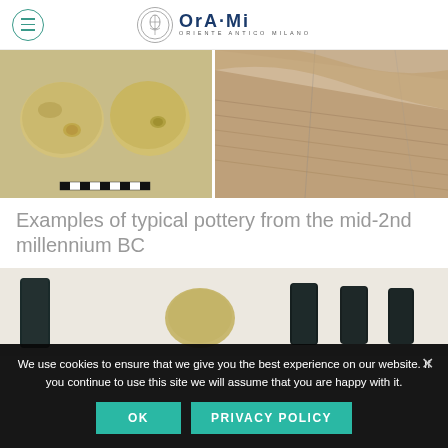OrA·Mi - Oriente Antico Milano
[Figure (photo): Two stone/clay lumps with small disc-shaped protrusions, shown side by side on a light background with a scale ruler below]
[Figure (photo): Fragment of ancient pottery with textured/striped surface, close-up view]
Examples of typical pottery from the mid-2nd millennium BC
[Figure (photo): Row of dark cylindrical seal objects and a round clay bead/token on a white background]
We use cookies to ensure that we give you the best experience on our website. If you continue to use this site we will assume that you are happy with it.